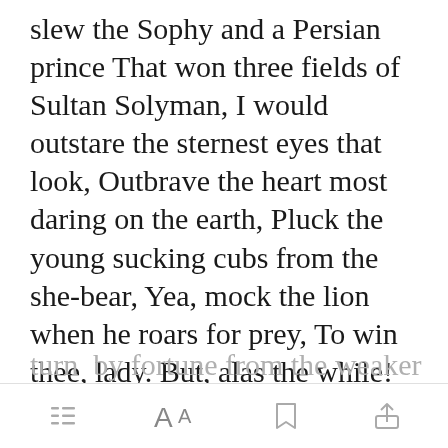slew the Sophy and a Persian prince That won three fields of Sultan Solyman, I would outstare the sternest eyes that look, Outbrave the heart most daring on the earth, Pluck the young sucking cubs from the she-bear, Yea, mock the lion when he roars for prey, To win thee, lady. But, alas the while! If Hercules and Lichas play at dice Which is the better man, th[Open in app]r throw May turn by fortune from the weaker